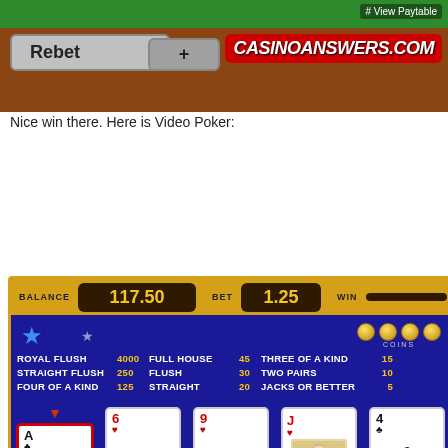[Figure (screenshot): Video poker game interface top bar with Rebet button, plus button, and CASINOANSWERS.COM logo on red background]
Nice win there. Here is Video Poker:
[Figure (screenshot): Video poker game showing balance 117.50, bet 1.25, win empty. Paytable shown: Royal Flush 4000, Straight Flush 250, Four of a Kind 125, Full House 45, Flush 30, Straight 20, Three of a Kind 15, Two Pairs 10, Jacks or Better 5. Cards: Ace of clubs (selected/hold), 6 of hearts, 9 of hearts, J of hearts (face card), 4 of clubs. Draw and Bet+ buttons at bottom with CASINOANSWERS.COM logo.]
[Figure (screenshot): Video poker game second state showing balance 116.25, bet 1.25, win 2.50]